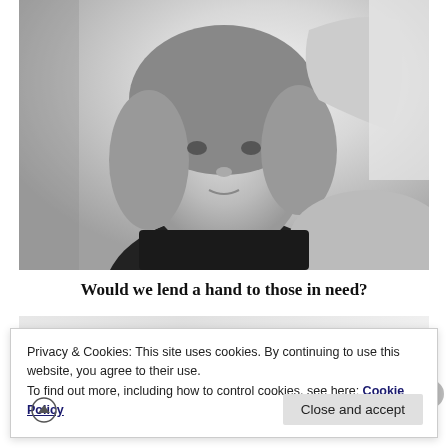[Figure (photo): Black and white selfie photo of a young woman with curly/wavy shoulder-length hair, wearing a dark sleeveless top, with one hand raised near her forehead against a light background.]
Would we lend a hand to those in need?
Privacy & Cookies: This site uses cookies. By continuing to use this website, you agree to their use.
To find out more, including how to control cookies, see here: Cookie Policy